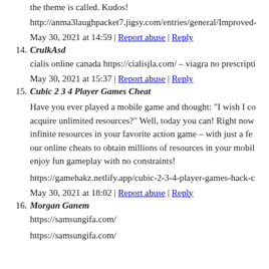the theme is called. Kudos!
http://anma3laughpacket7.jigsy.com/entries/general/Improved-
May 30, 2021 at 14:59 | Report abuse | Reply
14. CrulkAsd
cialis online canada https://cialisjla.com/ – viagra no prescripti
May 30, 2021 at 15:37 | Report abuse | Reply
15. Cubic 2 3 4 Player Games Cheat
Have you ever played a mobile game and thought: "I wish I co acquire unlimited resources?" Well, today you can! Right now infinite resources in your favorite action game – with just a fe our online cheats to obtain millions of resources in your mobil enjoy fun gameplay with no constraints!
https://gamehakz.netlify.app/cubic-2-3-4-player-games-hack-c
May 30, 2021 at 18:02 | Report abuse | Reply
16. Morgan Ganem
https://samsungifa.com/
https://samsungifa.com/